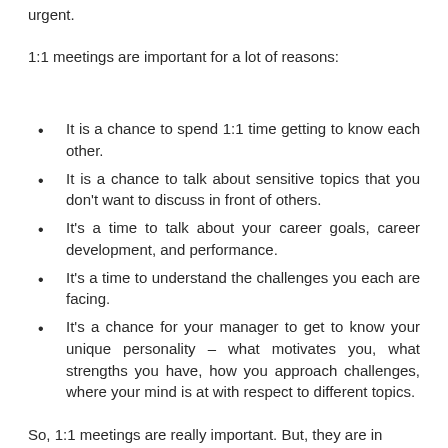urgent.
1:1 meetings are important for a lot of reasons:
It is a chance to spend 1:1 time getting to know each other.
It is a chance to talk about sensitive topics that you don't want to discuss in front of others.
It's a time to talk about your career goals, career development, and performance.
It's a time to understand the challenges you each are facing.
It's a chance for your manager to get to know your unique personality – what motivates you, what strengths you have, how you approach challenges, where your mind is at with respect to different topics.
So, 1:1 meetings are really important. But, they are in